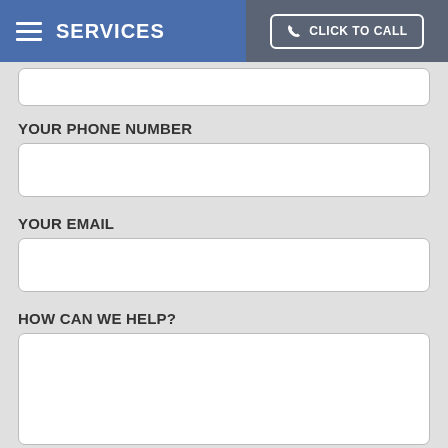SERVICES | CLICK TO CALL
YOUR PHONE NUMBER
YOUR EMAIL
HOW CAN WE HELP?